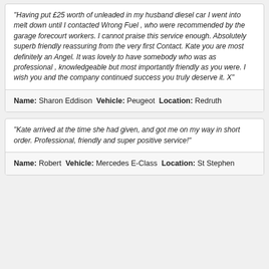"Having put £25 worth of unleaded in my husband diesel car I went into melt down until I contacted Wrong Fuel , who were recommended by the garage forecourt workers. I cannot praise this service enough. Absolutely superb friendly reassuring from the very first Contact. Kate you are most definitely an Angel. It was lovely to have somebody who was as professional , knowledgeable but most importantly friendly as you were. I wish you and the company continued success you truly deserve it. X"
Name: Sharon Eddison Vehicle: Peugeot Location: Redruth
"Kate arrived at the time she had given, and got me on my way in short order. Professional, friendly and super positive service!"
Name: Robert Vehicle: Mercedes E-Class Location: St Stephen